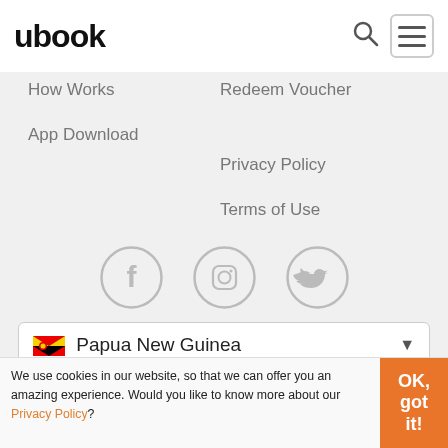ubook
How Works
Redeem Voucher
App Download
Privacy Policy
Terms of Use
[Figure (other): Social media icons: Facebook, Instagram, Twitter in grey circles]
Papua New Guinea (dropdown selector)
© 2022 Ubook.com
Install our app:
We use cookies in our website, so that we can offer you an amazing experience. Would you like to know more about our Privacy Policy?